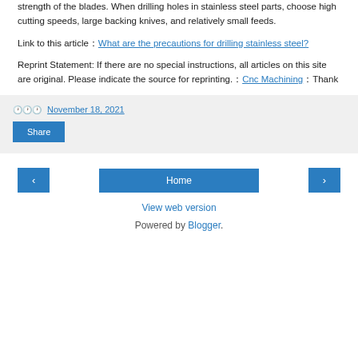strength of the blades. When drilling holes in stainless steel parts, choose high cutting speeds, large backing knives, and relatively small feeds.
Link to this article：What are the precautions for drilling stainless steel?
Reprint Statement: If there are no special instructions, all articles on this site are original. Please indicate the source for reprinting.：Cnc Machining：Thank
🕐🕐🕐 November 18, 2021
Share
‹
Home
›
View web version
Powered by Blogger.